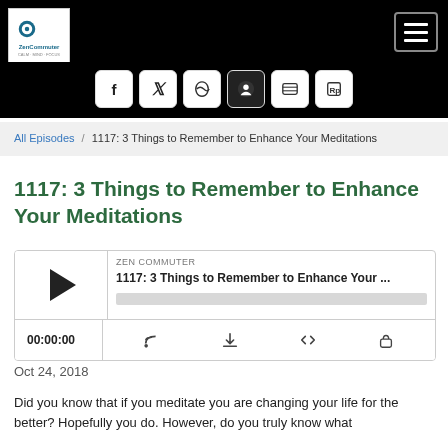[Figure (screenshot): Website header with black background, ZenCommuter logo on left, hamburger menu icon on right, and social media icons row below]
All Episodes / 1117: 3 Things to Remember to Enhance Your Meditations
1117: 3 Things to Remember to Enhance Your Meditations
[Figure (screenshot): Audio player widget showing ZEN COMMUTER label, episode title '1117: 3 Things to Remember to Enhance Your ...', play button, progress bar, time 00:00:00, and playback control icons]
Oct 24, 2018
Did you know that if you meditate you are changing your life for the better? Hopefully you do. However, do you truly know what